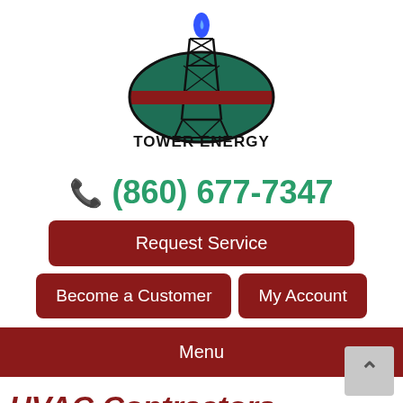[Figure (logo): Tower Energy logo: oval teal/green background with an oil derrick tower in the center, blue flame on top, red horizontal stripe across the middle, bold black text 'TOWER ENERGY' below the oval.]
(860) 677-7347
Request Service
Become a Customer
My Account
Menu
HVAC Contractors